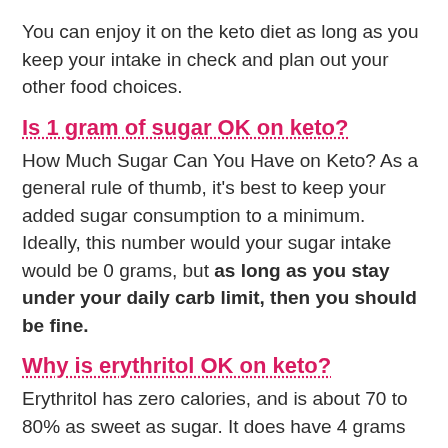You can enjoy it on the keto diet as long as you keep your intake in check and plan out your other food choices.
Is 1 gram of sugar OK on keto?
How Much Sugar Can You Have on Keto? As a general rule of thumb, it’s best to keep your added sugar consumption to a minimum. Ideally, this number would your sugar intake would be 0 grams, but as long as you stay under your daily carb limit, then you should be fine.
Why is erythritol OK on keto?
Erythritol has zero calories, and is about 70 to 80% as sweet as sugar. It does have 4 grams of carbohydrate per teaspoon, but zero net carbs, so...